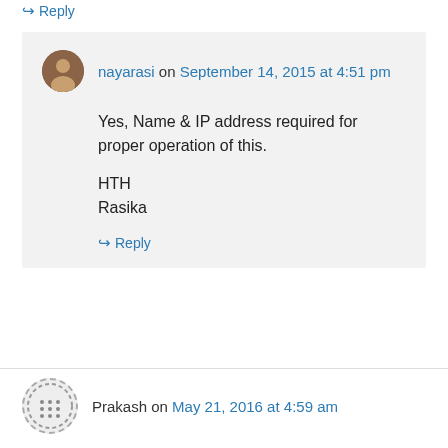↪ Reply
nayarasi on September 14, 2015 at 4:51 pm
Yes, Name & IP address required for proper operation of this.
HTH
Rasika
↪ Reply
Prakash on May 21, 2016 at 4:59 am
Rasika,
It will be nice to know how long a stranded local mode AP can continue to serve clients, please